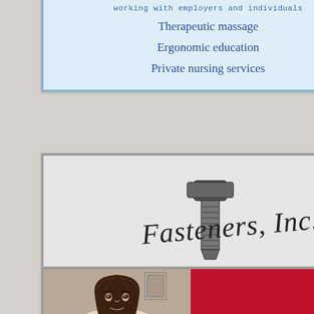[Figure (advertisement): Advertisement with light blue background and blue border showing nursing/wellness services: working with employers and individuals, Therapeutic massage, Ergonomic education, Private nursing services]
[Figure (advertisement): Fasteners, Inc. advertisement with logo showing a bolt/hammer graphic in script font, and text box reading: With over 100 years of combined experience, we find the 'hard to find' fastening solutions]
[Figure (advertisement): Advertisement with red background showing a partial photo of a woman with brown hair on the left side, partially cut off at bottom of page]